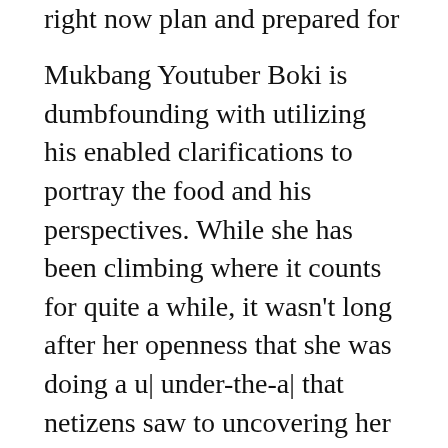right now plan and prepared for streaming.
Mukbang Youtuber Boki is dumbfounding with utilizing his enabled clarifications to portray the food and his perspectives. While she has been climbing where it counts for quite a while, it wasn't long after her openness that she was doing a u| under-the-a| that netizens saw to uncovering her in a serious way. No matter what the way that Boki eats an uncommon arrangement during mukbang accounts, she keeps a lean figure. Playback choices The Mukbang YouTuber, Moon Bok-hee, working under the Channel, Eat With Boki, Eat With Boki, has been blamed for changing mukbang YouTuber records to camouflage the way that she spat her food out after she eats it up to look